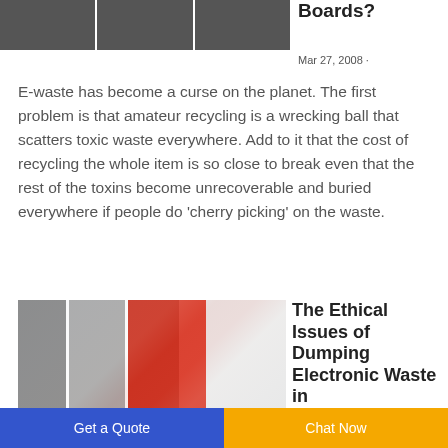[Figure (photo): Three e-waste circuit board images displayed in a horizontal strip]
Boards?
Mar 27, 2008 ·
E-waste has become a curse on the planet. The first problem is that amateur recycling is a wrecking ball that scatters toxic waste everywhere. Add to it that the cost of recycling the whole item is so close to break even that the rest of the toxins become unrecoverable and buried everywhere if people do 'cherry picking' on the waste.
[Figure (photo): Industrial e-waste recycling machine with red cylindrical components and a white control panel]
The Ethical Issues of Dumping Electronic Waste in
Get a Quote
Chat Now